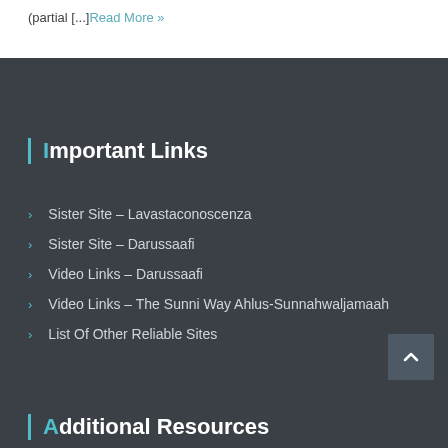(partial [...] Read More »
Important Links
Sister Site – Lavastaconoscenza
Sister Site – Darussaafi
Video Links – Darussaafi
Video Links – The Sunni Way Ahlus-Sunnahwaljamaah
List Of Other Reliable Sites
Additional Resources